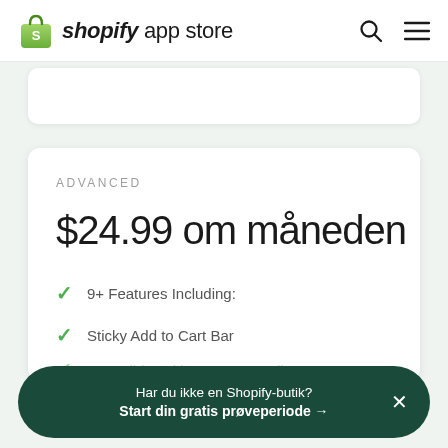shopify app store
ADVANCED
$24.99 om måneden
9+ Features Including:
Sticky Add to Cart Bar
Sticky Checkout Bar
Cart Slider with In Cart Upsell
Har du ikke en Shopify-butik? Start din gratis prøveperiode →